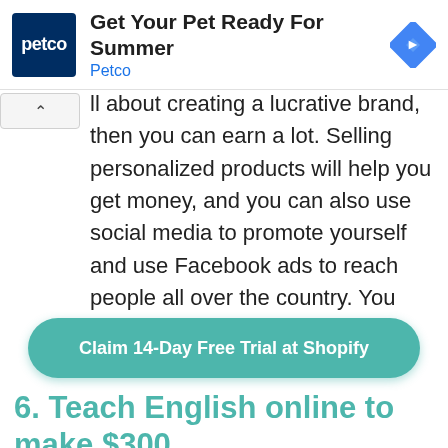[Figure (other): Petco advertisement banner with logo, headline 'Get Your Pet Ready For Summer', brand name 'Petco', and a blue diamond navigation icon]
ll about creating a lucrative brand, then you can earn a lot. Selling personalized products will help you get money, and you can also use social media to promote yourself and use Facebook ads to reach people all over the country. You can learn more by visiting online stores like Shopify and Etsy.
[Figure (other): Green rounded button with white bold text: 'Claim 14-Day Free Trial at Shopify']
6. Teach English online to make $300